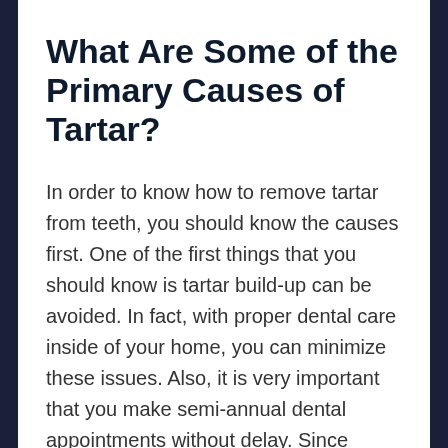What Are Some of the Primary Causes of Tartar?
In order to know how to remove tartar from teeth, you should know the causes first. One of the first things that you should know is tartar build-up can be avoided. In fact, with proper dental care inside of your home, you can minimize these issues. Also, it is very important that you make semi-annual dental appointments without delay. Since these regularly scheduled visits will give your dentist a chance to clean your teeth, tartar buildup can be prevented.